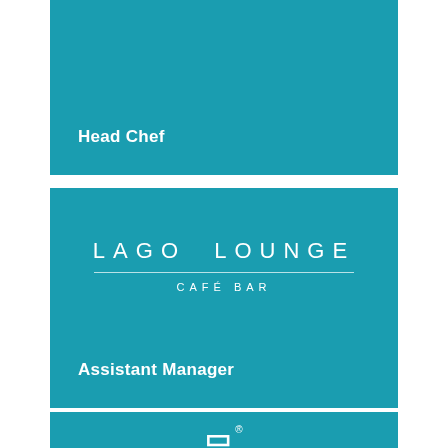Head Chef
[Figure (logo): Lago Lounge Café Bar logo — white text on teal background with 'LAGO LOUNGE' in spaced capitals, a horizontal rule, and 'CAFÉ BAR' below]
Assistant Manager
[Figure (logo): Partial view of another logo on teal background, showing a registered trademark symbol and beginning of large bold lettering]